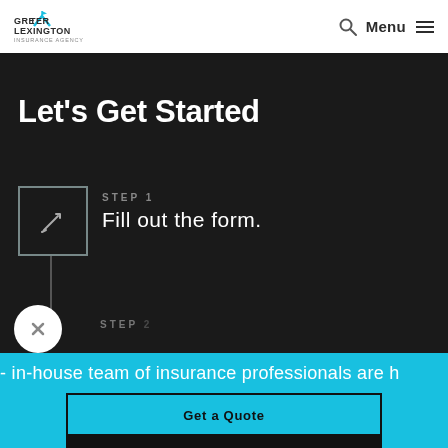Greater Lexington Insurance Agency — Menu
Let's Get Started
STEP 1
Fill out the form.
- in-house team of insurance professionals are h
Get a Quote
Call 859-224-2477